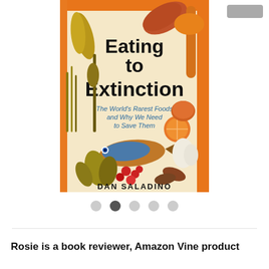[Figure (illustration): Book cover of 'Eating to Extinction: The World's Rarest Foods and Why We Need to Save Them' by Dan Saladino. Features colorful botanical and wildlife illustrations including fruits, vegetables, fish, grains, and berries on a warm orange and gold background.]
Rosie is a book reviewer, Amazon Vine product